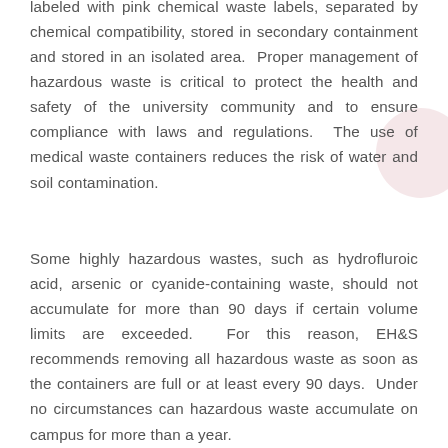labeled with pink chemical waste labels, separated by chemical compatibility, stored in secondary containment and stored in an isolated area. Proper management of hazardous waste is critical to protect the health and safety of the university community and to ensure compliance with laws and regulations. The use of medical waste containers reduces the risk of water and soil contamination.
Some highly hazardous wastes, such as hydrofluroic acid, arsenic or cyanide-containing waste, should not accumulate for more than 90 days if certain volume limits are exceeded. For this reason, EH&S recommends removing all hazardous waste as soon as the containers are full or at least every 90 days. Under no circumstances can hazardous waste accumulate on campus for more than a year.